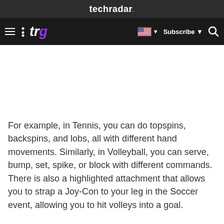techradar.
[Figure (screenshot): TechRadar navigation bar with hamburger menu, TRG logo, US flag/Subscribe button, and search icon]
For example, in Tennis, you can do topspins, backspins, and lobs, all with different hand movements. Similarly, in Volleyball, you can serve, bump, set, spike, or block with different commands. There is also a highlighted attachment that allows you to strap a Joy-Con to your leg in the Soccer event, allowing you to hit volleys into a goal.